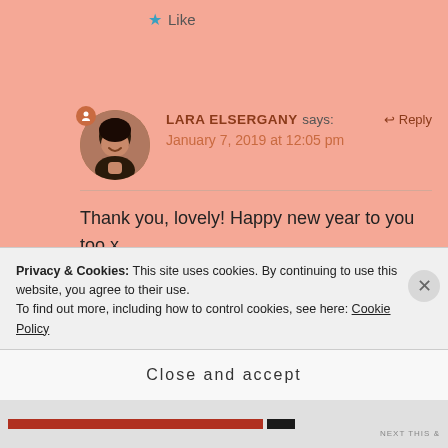★ Like
LARA ELSERGANY says: ↩ Reply
January 7, 2019 at 12:05 pm
Thank you, lovely! Happy new year to you too x
★ Liked by 1 person
Privacy & Cookies: This site uses cookies. By continuing to use this website, you agree to their use.
To find out more, including how to control cookies, see here: Cookie Policy
Close and accept